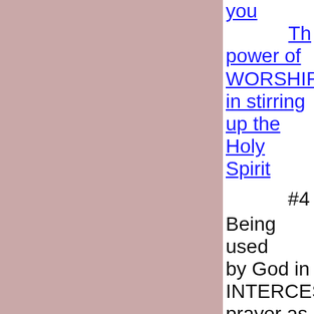you The power of WORSHIP in stirring up the Holy Spirit
#4 Being used by God in INTERCESSORY prayer as the Holy Spirit gives us the words to